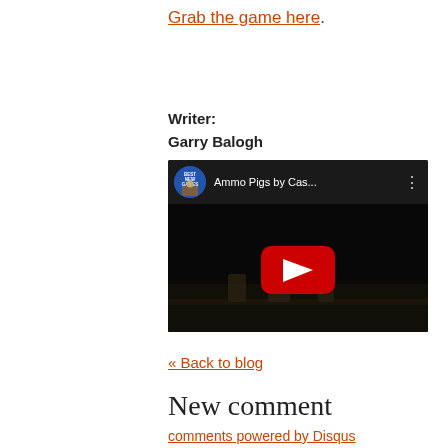Grab the game here.
Writer:
Garry Balogh
[Figure (screenshot): YouTube video thumbnail showing 'Ammo Pigs by Cas...' with a play button, dark game scene background, and Best New Games channel avatar]
« Back to blog
New comment
comments powered by Disqus